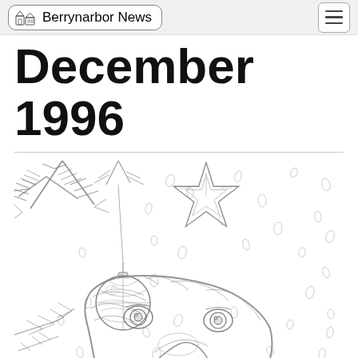Berrynarbor News
December 1996
[Figure (illustration): Pencil sketch illustration of a dog (Labrador) looking up beneath a Christmas tree with hanging ornaments including a round bauble and a star ornament, with snow or light particles scattered around the background.]